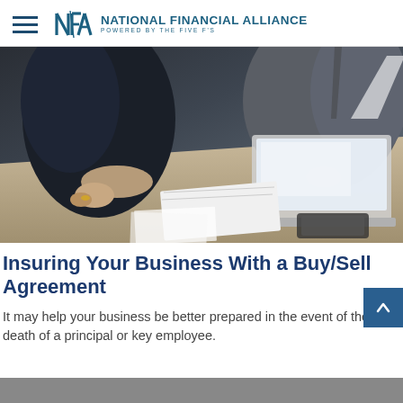NATIONAL FINANCIAL ALLIANCE — POWERED BY THE FIVE F'S
[Figure (photo): Two business professionals in suits at a conference table with a laptop and documents; business meeting scene photographed from above-side angle.]
Insuring Your Business With a Buy/Sell Agreement
It may help your business be better prepared in the event of the death of a principal or key employee.